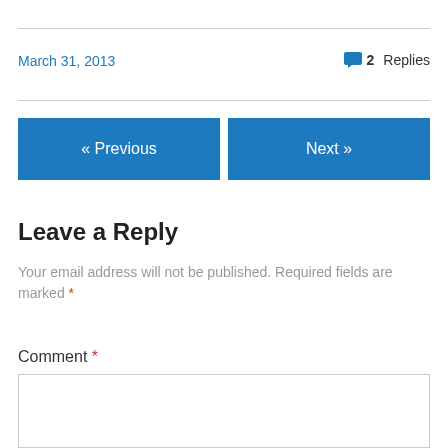March 31, 2013
2 Replies
« Previous
Next »
Leave a Reply
Your email address will not be published. Required fields are marked *
Comment *